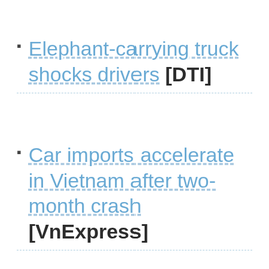Elephant-carrying truck shocks drivers [DTI]
Car imports accelerate in Vietnam after two-month crash [VnExpress]